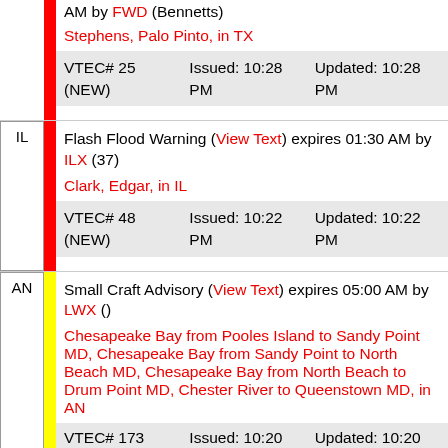AM by FWD (Bennetts) Stephens, Palo Pinto, in TX VTEC# 25 (NEW) Issued: 10:28 PM Updated: 10:28 PM
IL Flash Flood Warning (View Text) expires 01:30 AM by ILX (37) Clark, Edgar, in IL VTEC# 48 (NEW) Issued: 10:22 PM Updated: 10:22 PM
AN Small Craft Advisory (View Text) expires 05:00 AM by LWX () Chesapeake Bay from Pooles Island to Sandy Point MD, Chesapeake Bay from Sandy Point to North Beach MD, Chesapeake Bay from North Beach to Drum Point MD, Chester River to Queenstown MD, in AN VTEC# 173 Issued: 10:20 Updated: 10:20